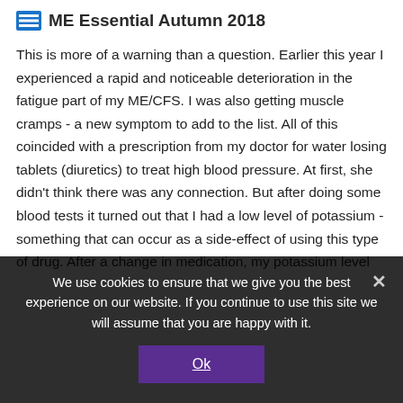ME Essential Autumn 2018
This is more of a warning than a question. Earlier this year I experienced a rapid and noticeable deterioration in the fatigue part of my ME/CFS. I was also getting muscle cramps - a new symptom to add to the list. All of this coincided with a prescription from my doctor for water losing tablets (diuretics) to treat high blood pressure. At first, she didn't think there was any connection. But after doing some blood tests it turned out that I had a low level of potassium - something that can occur as a side-effect of using this type of drug. After a change in medication, my potassium level
We use cookies to ensure that we give you the best experience on our website. If you continue to use this site we will assume that you are happy with it.